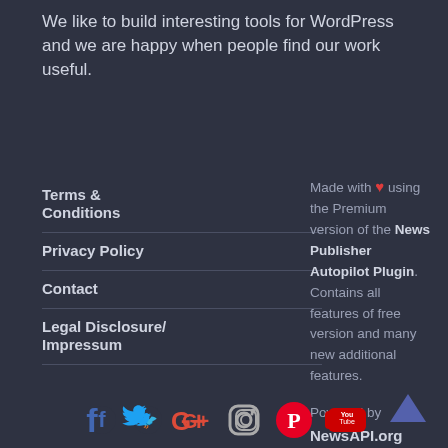We like to build interesting tools for WordPress and we are happy when people find our work useful.
Terms & Conditions
Privacy Policy
Contact
Legal Disclosure/ Impressum
Made with ❤ using the Premium version of the News Publisher Autopilot Plugin. Contains all features of free version and many new additional features.

Powered by NewsAPI.org
[Figure (other): Social media icons row: Facebook, Twitter, Google+, Instagram, Pinterest, YouTube. Plus a chevron-up arrow icon in the bottom right.]